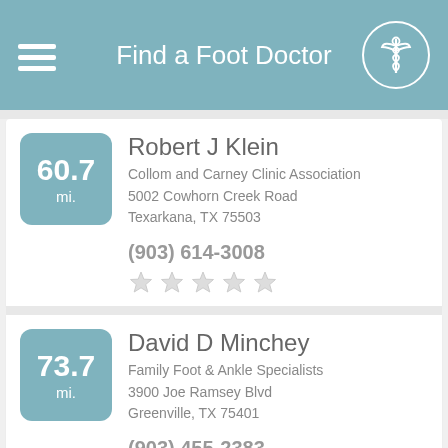Find a Foot Doctor
60.7 mi. — Robert J Klein
Collom and Carney Clinic Association
5002 Cowhorn Creek Road
Texarkana, TX 75503
(903) 614-3008
73.7 mi. — David D Minchey
Family Foot & Ankle Specialists
3900 Joe Ramsey Blvd
Greenville, TX 75401
(903) 455-2383